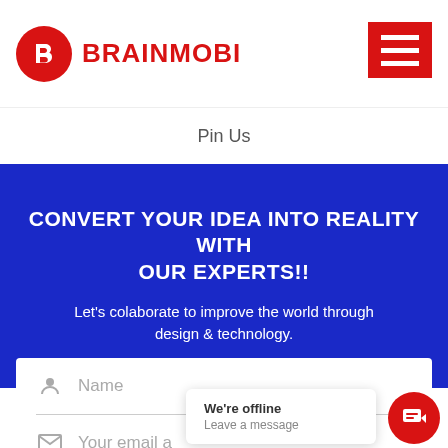[Figure (logo): BrainMobi logo with red circle containing a white B icon and red BRAINMOBI text, plus red hamburger menu icon top right]
Pin Us
CONVERT YOUR IDEA INTO REALITY WITH OUR EXPERTS!!
Let's colaborate to improve the world through design & technology.
Name
Your email a
We're offline
Leave a message